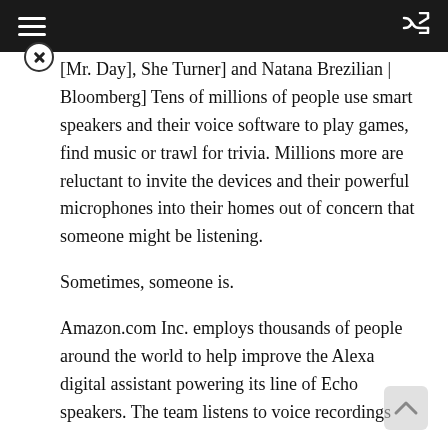≡  ⇌
[Mr. Day], She Turner] and Natana Brezilian | Bloomberg] Tens of millions of people use smart speakers and their voice software to play games, find music or trawl for trivia. Millions more are reluctant to invite the devices and their powerful microphones into their homes out of concern that someone might be listening.
Sometimes, someone is.
Amazon.com Inc. employs thousands of people around the world to help improve the Alexa digital assistant powering its line of Echo speakers. The team listens to voice recordings